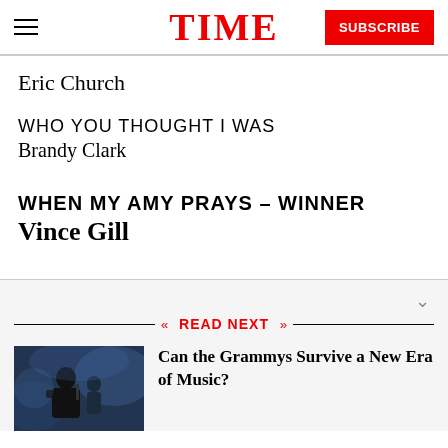TIME | SUBSCRIBE
Eric Church
WHO YOU THOUGHT I WAS
Brandy Clark
WHEN MY AMY PRAYS – WINNER
Vince Gill
READ NEXT
[Figure (photo): Photo of a musician performing on stage in dark blue lighting]
Can the Grammys Survive a New Era of Music?